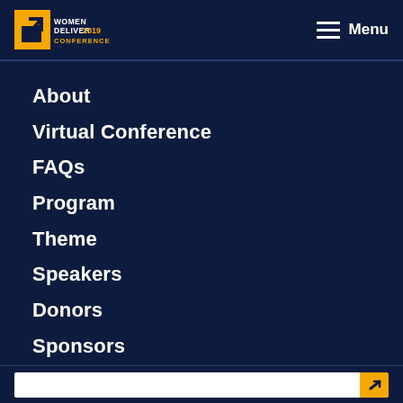Women Deliver 2019 Conference — Menu
About
Virtual Conference
FAQs
Program
Theme
Speakers
Donors
Sponsors
Exhibitors
Media
Social Media